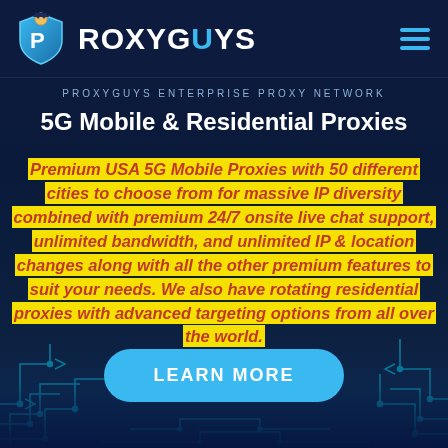[Figure (logo): ProxyGuys logo with blue shield mascot and white text PROXYGUYS on dark navy header bar with hamburger menu icon]
PROXYGUYS ENTERPRISE PROXY NETWORK
5G Mobile & Residential Proxies
Premium USA 5G Mobile Proxies with 50 different cities to choose from for massive IP diversity combined with premium 24/7 onsite live chat support, unlimited bandwidth, and unlimited IP & location changes along with all the other premium features to suit your needs. We also have rotating residential proxies with advanced targeting options from all over the world.
LEARN MORE